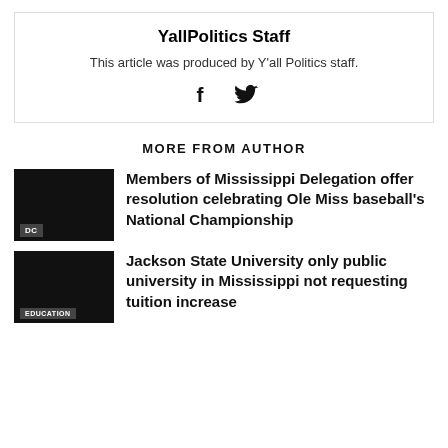YallPolitics Staff
This article was produced by Y'all Politics staff.
[Figure (infographic): Social media icons: Facebook (f) and Twitter (bird)]
MORE FROM AUTHOR
Members of Mississippi Delegation offer resolution celebrating Ole Miss baseball's National Championship
Jackson State University only public university in Mississippi not requesting tuition increase